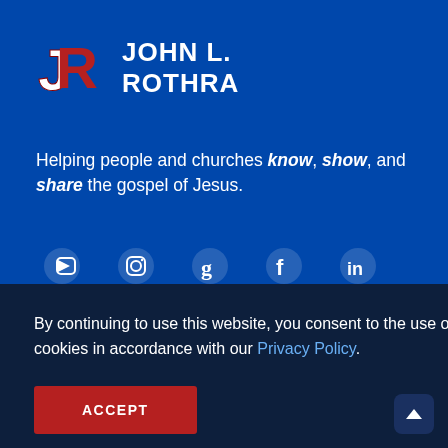JOHN L. ROTHRA
Helping people and churches know, show, and share the gospel of Jesus.
[Figure (infographic): Social media icons: YouTube, Instagram, Goodreads, Facebook, LinkedIn]
Contact Me
By continuing to use this website, you consent to the use of cookies in accordance with our Privacy Policy.
ACCEPT